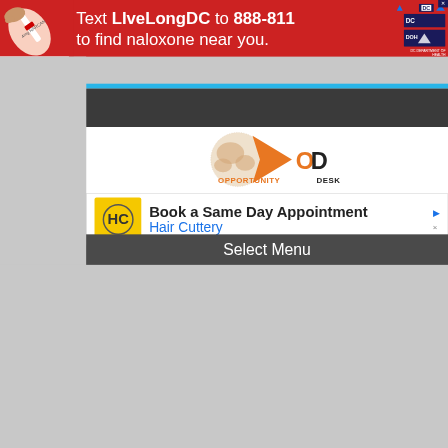[Figure (infographic): Red advertisement banner: Text LiveLongDC to 888-811 to find naloxone near you. Shows a nasal spray on left and DC government logos on right.]
Text LiveLongDC to 888-811 to find naloxone near you.
[Figure (logo): Opportunity Desk logo: globe with orange arrow/chevron, OD text, OPPORTUNITY DESK wordmark]
[Figure (infographic): Hair Cuttery advertisement: Book a Same Day Appointment, Hair Cuttery. HC logo in yellow box.]
Book a Same Day Appointment
Hair Cuttery
Select Menu